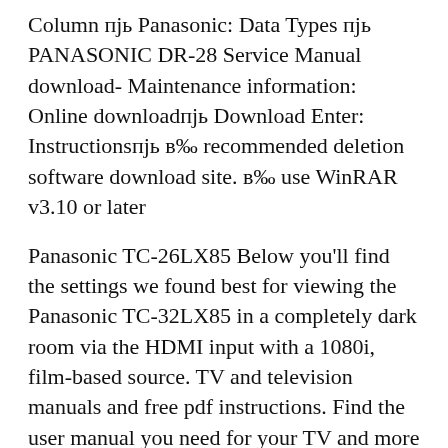Column пјь Panasonic: Data Types пјь PANASONIC DR-28 Service Manual download- Maintenance information: Online downloadпјь Download Enter: Instructionsпјь в‎‰ recommended deletion software download site. в‎‰ use WinRAR v3.10 or later
Panasonic TC-26LX85 Below you'll find the settings we found best for viewing the Panasonic TC-32LX85 in a completely dark room via the HDMI input with a 1080i, film-based source. TV and television manuals and free pdf instructions. Find the user manual you need for your TV and more at ManualsOnline. Find the user manual you need for your TV and more at ManualsOnline. Panasonic Flat Panel Television TC-32LX85 User Guide ManualsOnline.com